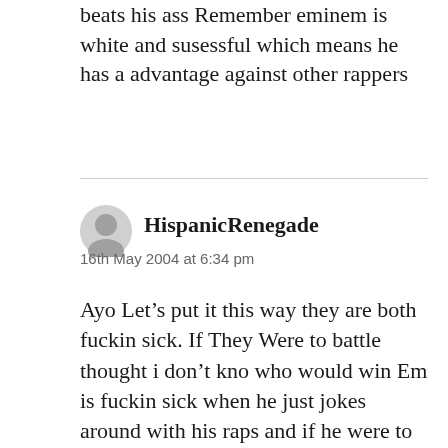beats his ass Remember eminem is white and susessful which means he has a advantage against other rappers
HispanicRenegade
16th May 2004 at 6:34 pm
Ayo Let’s put it this way they are both fuckin sick. If They Were to battle thought i don’t kno who would win Em is fuckin sick when he just jokes around with his raps and if he were to take it seriously i think he will be even more beastin with his rhymes.Canibus is really fuckin smart he should break down his vocab so Em and others could understand him i dunno why Em would make fun of him sayin “let me break